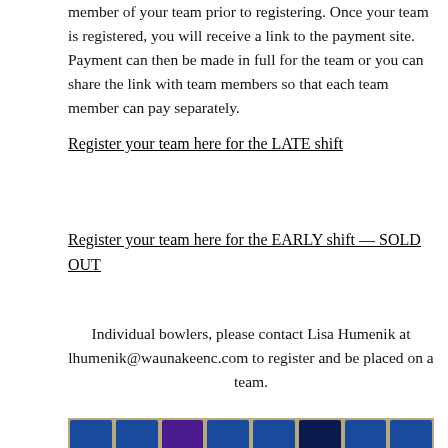member of your team prior to registering. Once your team is registered, you will receive a link to the payment site. Payment can then be made in full for the team or you can share the link with team members so that each team member can pay separately.
Register your team here for the LATE shift
Register your team here for the EARLY shift — SOLD OUT
Individual bowlers, please contact Lisa Humenik at lhumenik@waunakeenc.com to register and be placed on a team.
[Figure (photo): Photo of a bowling alley showing multiple lanes with blue and purple scoring screens overhead and wooden lane surfaces]